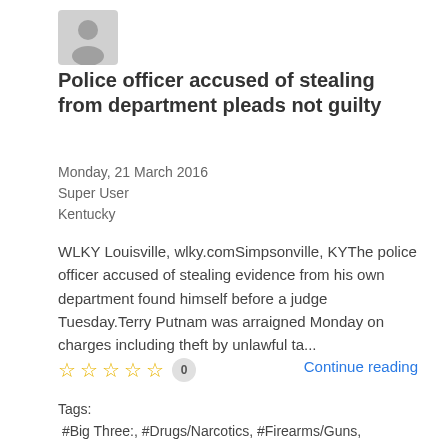[Figure (photo): Gray placeholder avatar/profile icon]
Police officer accused of stealing from department pleads not guilty
Monday, 21 March 2016
Super User
Kentucky
WLKY Louisville, wlky.comSimpsonville, KYThe police officer accused of stealing evidence from his own department found himself before a judge Tuesday.Terry Putnam was arraigned Monday on charges including theft by unlawful ta...
☆☆☆☆☆  0   Continue reading
Tags:
 #Big Three:, #Drugs/Narcotics, #Firearms/Guns,
 #Guns/Firearms, #money, #Narcotics/Drugs,
 #Officers in Trouble, #Theft